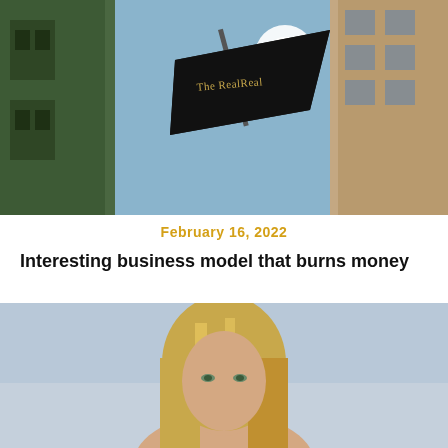[Figure (photo): Low-angle upward shot of The RealReal store sign (black flag with gold serif lettering 'The RealReal') hanging between buildings against a bright blue sky]
February 16, 2022
Interesting business model that burns money
[Figure (photo): Portrait photo of a blonde woman with long hair against a light blue background]